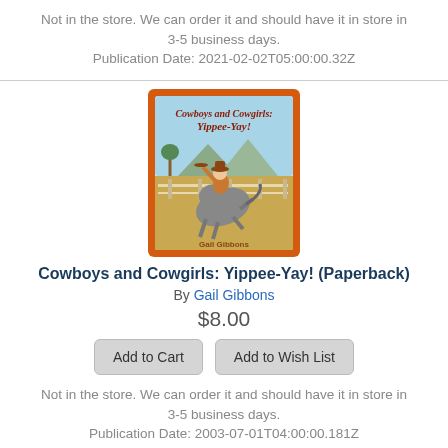Not in the store. We can order it and should have it in store in 3-5 business days.
Publication Date: 2021-02-02T05:00:00.32Z
[Figure (illustration): Book cover of Cowboys and Cowgirls: Yippee-Yay! by Gail Gibbons, featuring an illustrated scene of a cowboy riding a bucking horse with a ranch background, orange border.]
Cowboys and Cowgirls: Yippee-Yay! (Paperback)
By Gail Gibbons
$8.00
Add to Cart
Add to Wish List
Not in the store. We can order it and should have it in store in 3-5 business days.
Publication Date: 2003-07-01T04:00:00.181Z